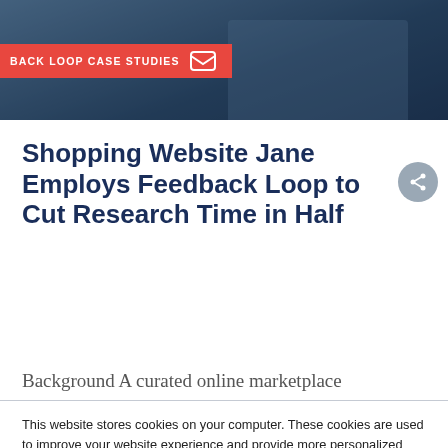[Figure (photo): Hero banner image showing a case studies header with red accent banner reading 'BACK LOOP CASE STUDIES' and a share icon, over a dark blue-toned photo background]
Shopping Website Jane Employs Feedback Loop to Cut Research Time in Half
Background A curated online marketplace
This website stores cookies on your computer. These cookies are used to improve your website experience and provide more personalized services to you, both on this website and through other media. To find out more about the cookies we use, see our Privacy Policy.
We won't track your information when you visit our site. But in order to comply with your preferences, we'll have to use just one tiny cookie so that you're not asked to make this choice again.